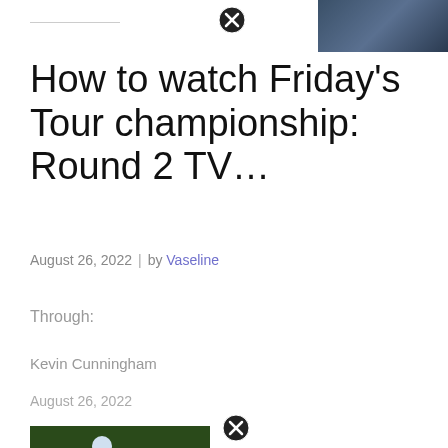[Figure (photo): Top right photo of a person, partially visible, dark background]
How to watch Friday's Tour championship: Round 2 TV…
August 26, 2022  |  by Vaseline
Through:
Kevin Cunningham
August 26, 2022
[Figure (photo): Golfer in blue shirt swinging a golf club, green background]